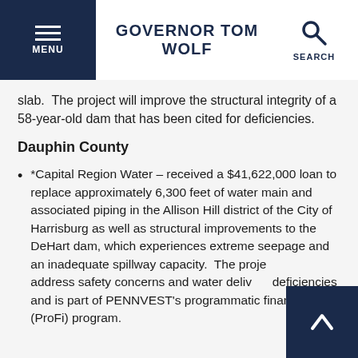GOVERNOR TOM WOLF
slab.  The project will improve the structural integrity of a 58-year-old dam that has been cited for deficiencies.
Dauphin County
*Capital Region Water – received a $41,622,000 loan to replace approximately 6,300 feet of water main and associated piping in the Allison Hill district of the City of Harrisburg as well as structural improvements to the DeHart dam, which experiences extreme seepage and an inadequate spillway capacity.  The project will address safety concerns and water delivery deficiencies and is part of PENNVEST's programmatic financing (ProFi) program.